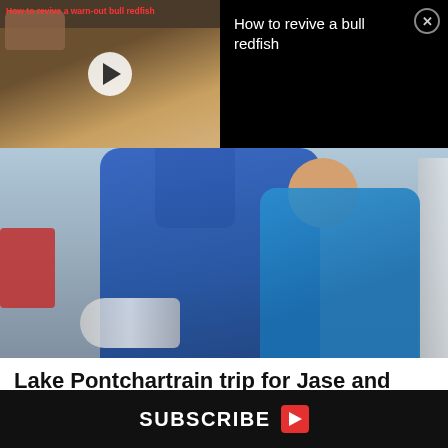[Figure (screenshot): Video overlay showing a fish being held, with red title text 'How to revive a warn-out bull redfish' and a white play button. Right side shows black background with white text 'How to revive a bull redfish' and a close button.]
[Figure (photo): Photo of a person in a blue life jacket on a boat holding a fish, with a smiling young child in a blue and teal life jacket beside them.]
Lake Pontchartrain trip for Jase and Jaxton
August 20, 2022
SUBSCRIBE